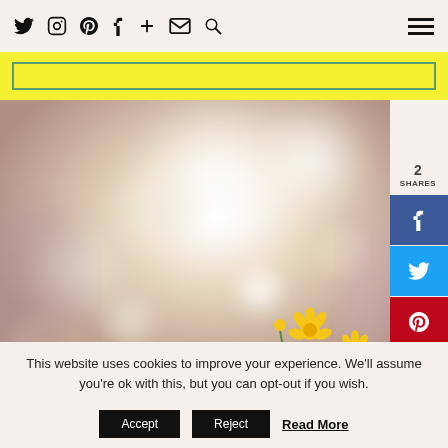Social icons: Twitter, Instagram, Pinterest, Facebook, Plus, Mail, Search | Hamburger menu
[Figure (other): Yellow banner strip with green-bordered inner rectangle]
[Figure (photo): Bokeh blurred photo with glowing white orbs and small yellow flowers at bottom]
2 SHARES
[Figure (infographic): Social share buttons: Facebook (blue), Twitter (light blue), Pinterest (red), LinkedIn (dark blue)]
This website uses cookies to improve your experience. We'll assume you're ok with this, but you can opt-out if you wish.
Accept | Reject | Read More